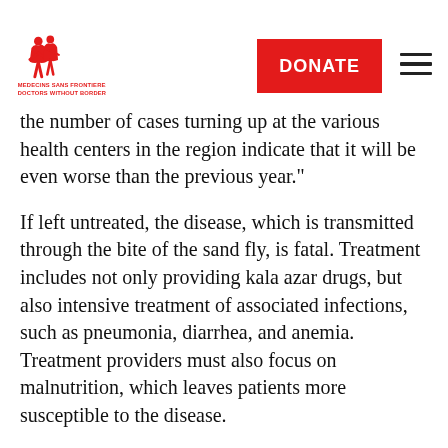MEDECINS SANS FRONTIERES DOCTORS WITHOUT BORDERS | DONATE
the number of cases turning up at the various health centers in the region indicate that it will be even worse than the previous year."
If left untreated, the disease, which is transmitted through the bite of the sand fly, is fatal. Treatment includes not only providing kala azar drugs, but also intensive treatment of associated infections, such as pneumonia, diarrhea, and anemia. Treatment providers must also focus on malnutrition, which leaves patients more susceptible to the disease.
"The fact that we see these high numbers so early, in the traditional low season of the disease, indicate that we are on the brink of a massive outbreak later in the year," said Koert Ritmeijer, MSF health advisor and